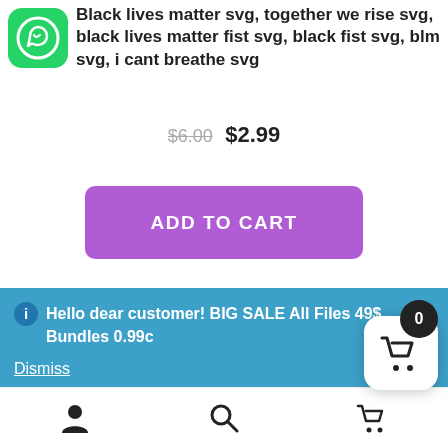[Figure (logo): WhatsApp green rounded square icon]
Black lives matter svg, together we rise svg, black lives matter fist svg, black fist svg, blm svg, i cant breathe svg
$6.00  $2.99
ADD TO CART
[Figure (illustration): Partial product image showing a raised fist in red and green colors with a crosshatch/diamond pattern overlay]
Hello dear customer! BIG SALE All Files 49$, Bundles 0.99c
Dismiss
[Figure (infographic): Bottom navigation bar with person icon, search icon, and shopping cart icon with badge showing 0]